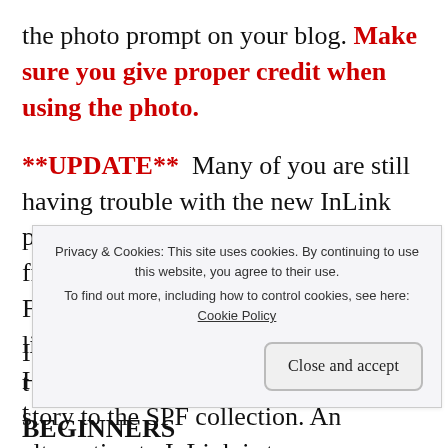the photo prompt on your blog. Make sure you give proper credit when using the photo.
**UPDATE** Many of you are still having trouble with the new InLink platform and I understand the frustration. It is what is it, however. For those who wish to use InLink to link their story to SPF, use the "Click Here to Enter" icon below to add your story to the SPF collection. An alternative to InLink is to
Privacy & Cookies: This site uses cookies. By continuing to use this website, you agree to their use. To find out more, including how to control cookies, see here: Cookie Policy
Close and accept
BEGINNERS